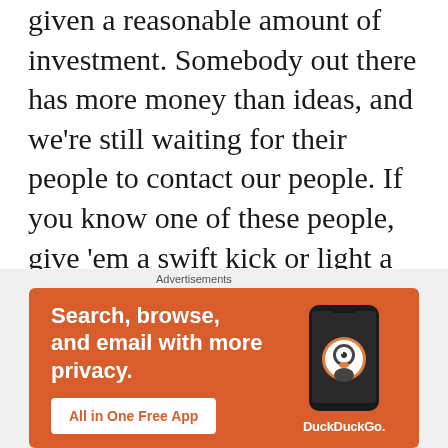given a reasonable amount of investment. Somebody out there has more money than ideas, and we're still waiting for their people to contact our people. If you know one of these people, give 'em a swift kick or light a fire under 'em (not literally), to push them in the right direction. I know there's already some great restaurants, but it's clear that many places just don't get it. For example, I know of restaurants that don't use any bacon… for anything. Obviously you don't
Advertisements
[Figure (other): DuckDuckGo advertisement banner with orange background. Text: 'Search, browse, and email with more privacy.' Button: 'All in One Free App'. Shows a smartphone with DuckDuckGo logo and branding.]